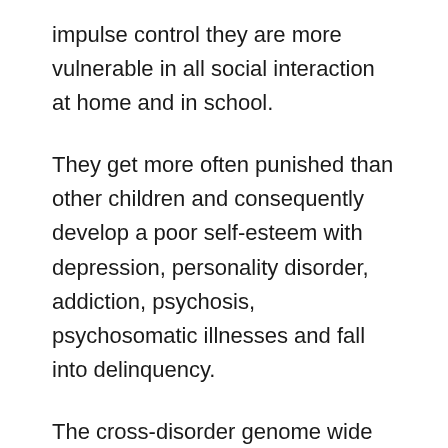impulse control they are more vulnerable in all social interaction at home and in school.
They get more often punished than other children and consequently develop a poor self-esteem with depression, personality disorder, addiction, psychosis, psychosomatic illnesses and fall into delinquency.
The cross-disorder genome wide association studies (GWAS) to my delight support my hypothesis and confirm my conviction that many psychiatric disorders might be related to the genotype of AD(H)D. In psychiatric research this